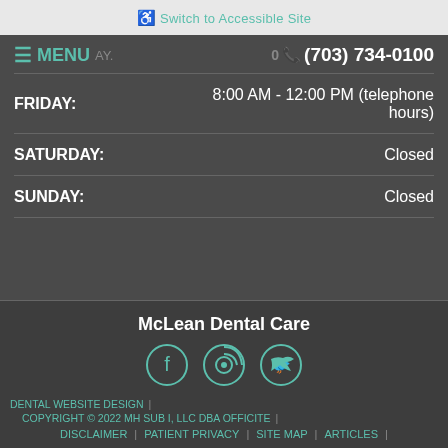Switch to Accessible Site
MENU   (703) 734-0100
| Day | Hours |
| --- | --- |
| FRIDAY: | 8:00 AM - 12:00 PM (telephone hours) |
| SATURDAY: | Closed |
| SUNDAY: | Closed |
McLean Dental Care
[Figure (other): Social media icons: Facebook, RSS feed, Twitter]
DENTAL WEBSITE DESIGN | COPYRIGHT © 2022 MH SUB I, LLC DBA OFFICITE | DISCLAIMER | PATIENT PRIVACY | SITE MAP | ARTICLES |